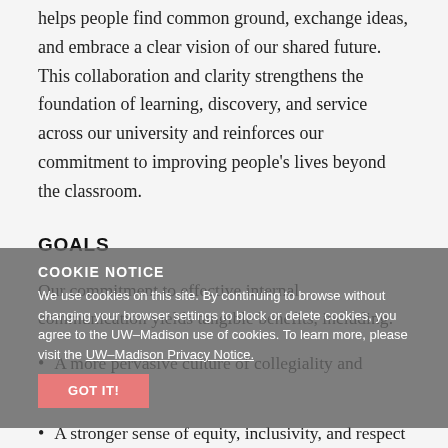helps people find common ground, exchange ideas, and embrace a clear vision of our shared future. This collaboration and clarity strengthens the foundation of learning, discovery, and service across our university and reinforces our commitment to improving people's lives beyond the classroom.
GOALS
Our commitment to effective internal communication yields tangible benefits, including:
A more pervasive culture of collegiality and collaboration
A stronger sense of equity, inclusivity, and respect
The proliferation of more brand ambassadors and